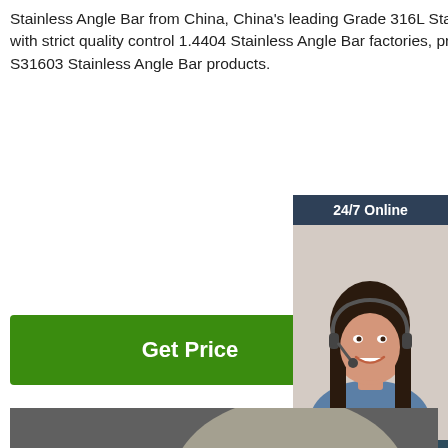Stainless Angle Bar from China, China's leading Grade 316L Stainless Angle Bar product, with strict quality control 1.4404 Stainless Angle Bar factories, producing high quality S31603 Stainless Angle Bar products.
[Figure (other): Green 'Get Price' button]
[Figure (other): Sidebar widget with '24/7 Online' header, customer service representative photo, 'Click here for free chat!' text, and orange QUOTATION button]
[Figure (photo): Industrial warehouse storing large coiled metal wire rods bundled together]
[Figure (logo): Orange TOP badge/logo in the bottom right corner of the product photo]